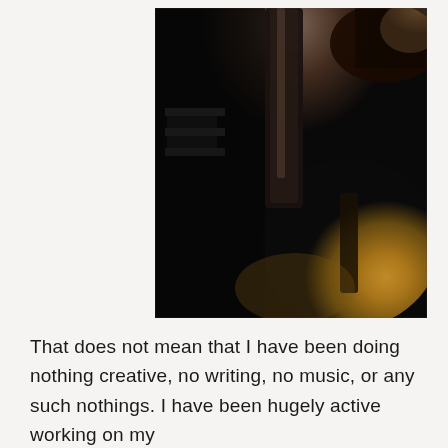[Figure (photo): A dark, low-light photograph showing what appears to be a guitar neck and body, held by a hand. The image is mostly black with a warm golden/amber glow illuminating the guitar body in the lower right portion.]
That does not mean that I have been doing nothing creative, no writing, no music, or any such nothings. I have been hugely active working on my